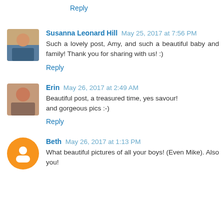Reply
Susanna Leonard Hill  May 25, 2017 at 7:56 PM
Such a lovely post, Amy, and such a beautiful baby and family! Thank you for sharing with us! :)
Reply
Erin  May 26, 2017 at 2:49 AM
Beautiful post, a treasured time, yes savour!
and gorgeous pics :-)
Reply
Beth  May 26, 2017 at 1:13 PM
What beautiful pictures of all your boys! (Even Mike). Also you!